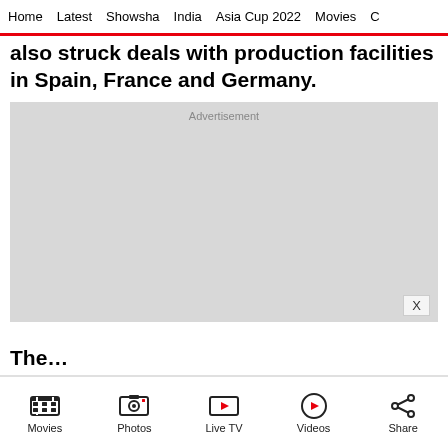Home  Latest  Showsha  India  Asia Cup 2022  Movies  C…
also struck deals with production facilities in Spain, France and Germany.
[Figure (other): Advertisement placeholder box (grey rectangle) with 'Advertisement' label and 'X' close button]
The…
Movies | Photos | Live TV | Videos | Share